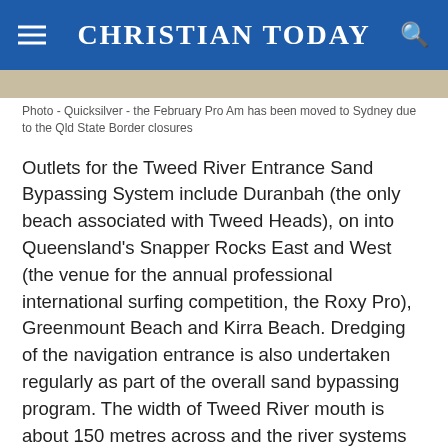CHRISTIAN TODAY
[Figure (photo): Tan/beige colored banner image (partial photo, cropped)]
Photo  -  Quicksilver  -  the February Pro Am has been moved to Sydney due to the Qld State Border closures
Outlets for the Tweed River Entrance Sand Bypassing System include Duranbah (the only beach associated with Tweed Heads), on into Queensland's Snapper Rocks East and West (the venue for the annual professional international surfing competition, the Roxy Pro), Greenmount Beach and Kirra Beach. Dredging of the navigation entrance is also undertaken regularly as part of the overall sand bypassing program. The width of Tweed River mouth is about 150 metres across and the river systems then veer south and then west.
Whereas the Tweed Shire Council has a reputation for